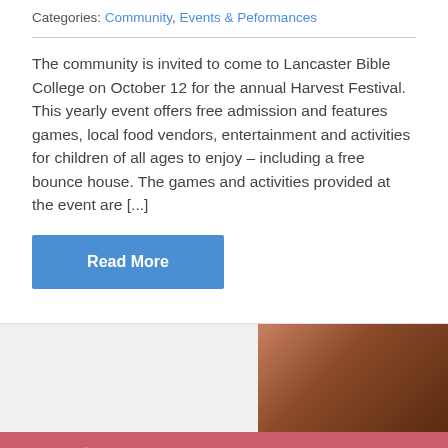Categories: Community, Events & Peformances
The community is invited to come to Lancaster Bible College on October 12 for the annual Harvest Festival. This yearly event offers free admission and features games, local food vendors, entertainment and activities for children of all ages to enjoy – including a free bounce house. The games and activities provided at the event are [...]
Read More
[Figure (photo): Partial photo visible at bottom right, showing a warm brown/dark toned image, possibly a person or close-up detail]
Request Info   Visit Us   Apply